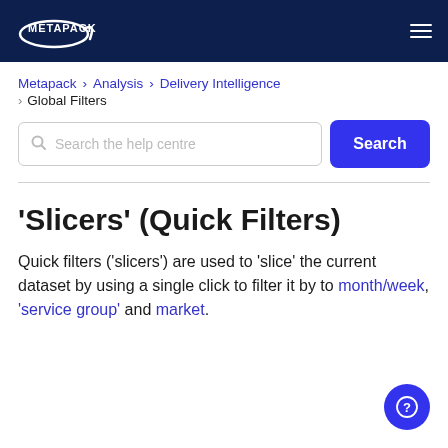METAPACK
Metapack > Analysis > Delivery Intelligence > Global Filters
Search the help centre
'Slicers' (Quick Filters)
Quick filters ('slicers') are used to 'slice' the current dataset by using a single click to filter it by to month/week, 'service group' and market.